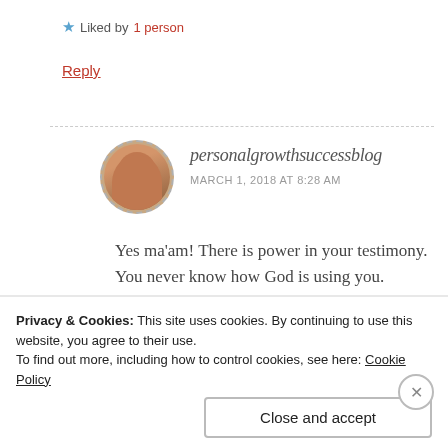★ Liked by 1 person
Reply
personalgrowthsuccessblog
MARCH 1, 2018 AT 8:28 AM
Yes ma'am! There is power in your testimony. You never know how God is using you.
★ Liked by 1 person
Privacy & Cookies: This site uses cookies. By continuing to use this website, you agree to their use.
To find out more, including how to control cookies, see here: Cookie Policy
Close and accept